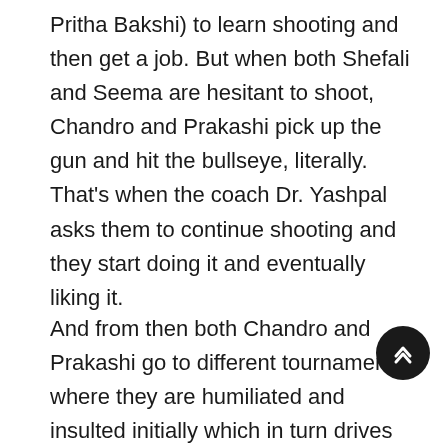Pritha Bakshi) to learn shooting and then get a job. But when both Shefali and Seema are hesitant to shoot, Chandro and Prakashi pick up the gun and hit the bullseye, literally. That's when the coach Dr. Yashpal asks them to continue shooting and they start doing it and eventually liking it.
And from then both Chandro and Prakashi go to different tournaments where they are humiliated and insulted initially which in turn drives them to win the competitions. That's where their journey begins, where they somehow practice and attend tournaments